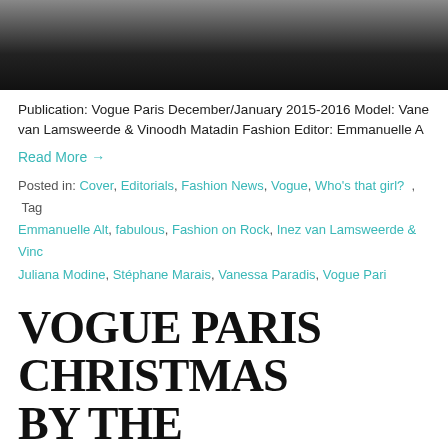[Figure (photo): Top portion of a dark gradient image, fading from gray to black, cropped at the top of the page.]
Publication: Vogue Paris December/January 2015-2016 Model: Vane van Lamsweerde & Vinoodh Matadin Fashion Editor: Emmanuelle A
Read More →
Posted in: Cover, Editorials, Fashion News, Vogue, Who's that girl? , Tag Emmanuelle Alt, fabulous, Fashion on Rock, Inez van Lamsweerde & Vinc Juliana Modine, Stéphane Marais, Vanessa Paradis, Vogue Pari
VOGUE PARIS CHRISTMAS BY THE INCREDIBLE INEZ & DAVID SIMS, & KARIM SADI